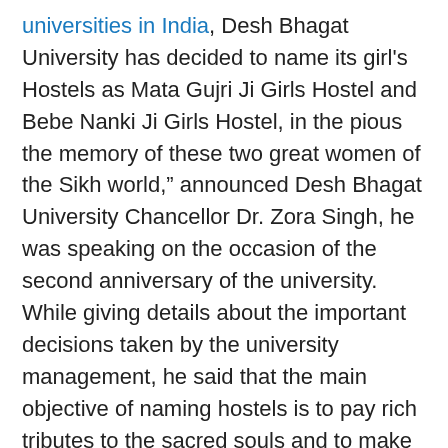universities in India, Desh Bhagat University has decided to name its girl's Hostels as Mata Gujri Ji Girls Hostel and Bebe Nanki Ji Girls Hostel, in the pious the memory of these two great women of the Sikh world," announced Desh Bhagat University Chancellor Dr. Zora Singh, he was speaking on the occasion of the second anniversary of the university. While giving details about the important decisions taken by the university management, he said that the main objective of naming hostels is to pay rich tributes to the sacred souls and to make their memories everlasting. This decision has been taken in the last week of December at the solemn occasion of Shahidi Jod Mel, to commemorate the great martyrs of the world. Dr. Singh further said that from now Boys Hostel -1 will be known as Shaheed Bhagat Singh Boys Hostel, Hostel-2 as Baba Banda Singh Bahadur Boys Hostel, Hostel - 3 as Dr. Ambedkar Boys Hostel and Hostel-4 as Gurudev Ravindar Nath Tagore Boys Hostel. Speaking on...